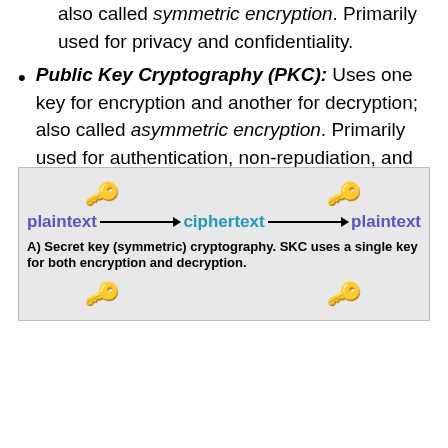also called symmetric encryption. Primarily used for privacy and confidentiality.
Public Key Cryptography (PKC): Uses one key for encryption and another for decryption; also called asymmetric encryption. Primarily used for authentication, non-repudiation, and key exchange.
Hash Functions: Uses a mathematical transformation to irreversibly “encrypt” information, providing a digital fingerprint. Primarily used for message integrity.
[Figure (illustration): Diagram showing secret key (symmetric) cryptography flow: plaintext -> (key icon) -> ciphertext -> (key icon) -> plaintext, with caption 'A) Secret key (symmetric) cryptography. SKC uses a single key for both encryption and decryption.' Below that shows two keys (pink and dark blue) for the next diagram section.]